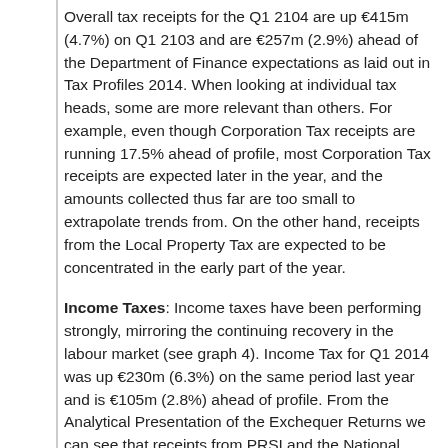Overall tax receipts for the Q1 2104 are up €415m (4.7%) on Q1 2103 and are €257m (2.9%) ahead of the Department of Finance expectations as laid out in Tax Profiles 2014. When looking at individual tax heads, some are more relevant than others. For example, even though Corporation Tax receipts are running 17.5% ahead of profile, most Corporation Tax receipts are expected later in the year, and the amounts collected thus far are too small to extrapolate trends from. On the other hand, receipts from the Local Property Tax are expected to be concentrated in the early part of the year.
Income Taxes: Income taxes have been performing strongly, mirroring the continuing recovery in the labour market (see graph 4). Income Tax for Q1 2014 was up €230m (6.3%) on the same period last year and is €105m (2.8%) ahead of profile. From the Analytical Presentation of the Exchequer Returns we can see that receipts from PRSI and the National